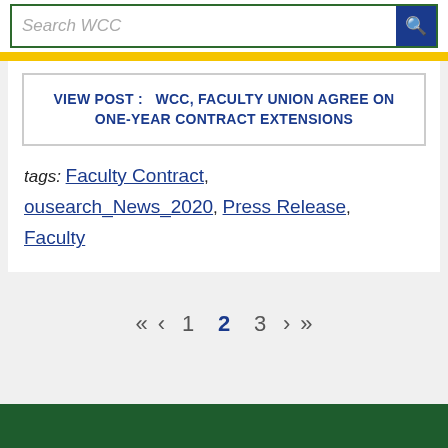Search WCC
VIEW POST :   WCC, FACULTY UNION AGREE ON ONE-YEAR CONTRACT EXTENSIONS
tags: Faculty Contract, ousearch_News_2020, Press Release, Faculty
« < 1 2 3 > »